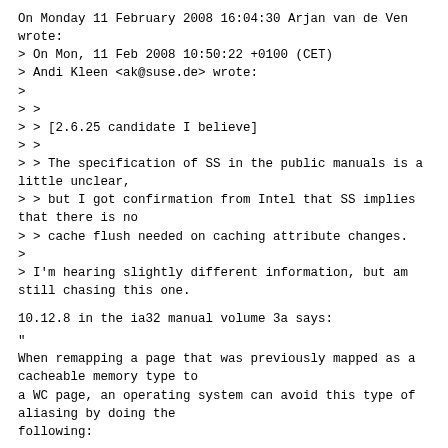On Monday 11 February 2008 16:04:30 Arjan van de Ven wrote:
> On Mon, 11 Feb 2008 10:50:22 +0100 (CET)
> Andi Kleen <ak@suse.de> wrote:
>
> >
> > [2.6.25 candidate I believe]
> >
> > The specification of SS in the public manuals is a little unclear,
> > but I got confirmation from Intel that SS implies that there is no
> > cache flush needed on caching attribute changes.
>
> I'm hearing slightly different information, but am still chasing this one.
10.12.8 in the ia32 manual volume 3a says:
"
When remapping a page that was previously mapped as a cacheable memory type to
a WC page, an operating system can avoid this type of aliasing by doing the
following:
...

3. Create a new mapping to the same physical address with a new memory type, for